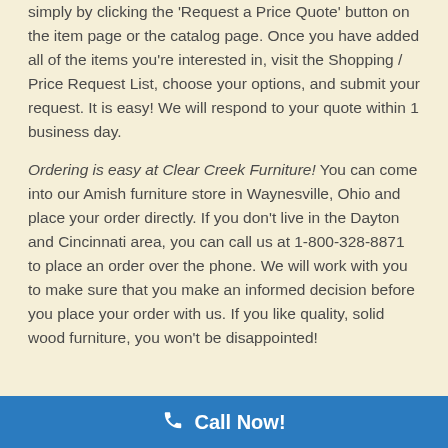simply by clicking the 'Request a Price Quote' button on the item page or the catalog page. Once you have added all of the items you're interested in, visit the Shopping / Price Request List, choose your options, and submit your request. It is easy! We will respond to your quote within 1 business day.
Ordering is easy at Clear Creek Furniture! You can come into our Amish furniture store in Waynesville, Ohio and place your order directly. If you don't live in the Dayton and Cincinnati area, you can call us at 1-800-328-8871 to place an order over the phone. We will work with you to make sure that you make an informed decision before you place your order with us. If you like quality, solid wood furniture, you won't be disappointed!
2 doors, 2 drawers
Call Now!